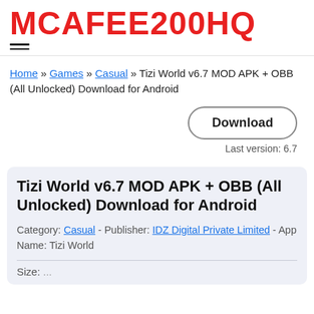MCAFEE200HQ
Home » Games » Casual » Tizi World v6.7 MOD APK + OBB (All Unlocked) Download for Android
Download
Last version: 6.7
Tizi World v6.7 MOD APK + OBB (All Unlocked) Download for Android
Category: Casual - Publisher: IDZ Digital Private Limited - App Name: Tizi World